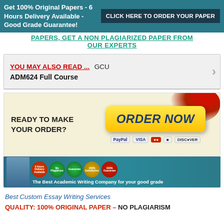Get 100% Original Papers - 6 Hours Delivery Available - Good Grade Guarantee! CLICK HERE TO ORDER YOUR PAPER
PAPERS, GET A NON PLAGIARIZED PAPER FROM OUR EXPERTS
YOU MAY ALSO READ ... GCU ADM624 Full Course
[Figure (infographic): Promotional banner with 'READY TO MAKE YOUR ORDER?' text on left and yellow 'ORDER NOW' button on right with PayPal, VISA, MasterCard, and Discover payment logos. Red splash graphic in top right corner.]
[Figure (infographic): Teal academic writing company banner showing a person with badges for 6 Hours Delivery Available, No Plagiarism, Guarantee, 100% Satisfaction, and 100% Guarantee. Text reads 'The Best Academic Writing Company for your good grade']
Best Custom Essay Writing Services
QUALITY: 100% ORIGINAL PAPER – NO PLAGIARISM